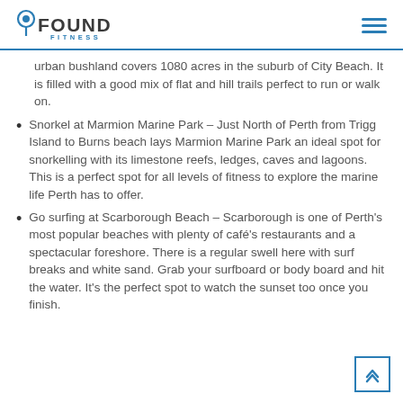FOUNDRY FITNESS
urban bushland covers 1080 acres in the suburb of City Beach.  It is filled with a good mix of flat and hill trails perfect to run or walk on.
Snorkel at Marmion Marine Park – Just North of Perth from Trigg Island to Burns beach lays Marmion Marine Park an ideal spot for snorkelling with its limestone reefs, ledges, caves and lagoons. This is a perfect spot for all levels of fitness to explore the marine life Perth has to offer.
Go surfing at Scarborough Beach – Scarborough is one of Perth's most popular beaches with plenty of café's restaurants and a spectacular foreshore. There is a regular swell here with surf breaks and white sand.  Grab your surfboard or body board and hit the water.  It's the perfect spot to watch the sunset too once you finish.